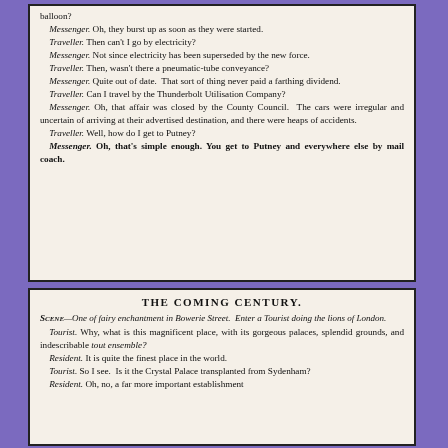...Then can I get about in a balloon? Messenger. Oh, they burst up as soon as they were started. Traveller. Then can't I go by electricity? Messenger. Not since electricity has been superseded by the new force. Traveller. Then, wasn't there a pneumatic-tube conveyance? Messenger. Quite out of date. That sort of thing never paid a farthing dividend. Traveller. Can I travel by the Thunderbolt Utilisation Company? Messenger. Oh, that affair was closed by the County Council. The cars were irregular and uncertain of arriving at their advertised destination, and there were heaps of accidents. Traveller. Well, how do I get to Putney? Messenger. Oh, that's simple enough. You get to Putney and everywhere else by mail coach.
THE COMING CENTURY.
Scene—One of fairy enchantment in Bowerie Street. Enter a Tourist doing the lions of London. Tourist. Why, what is this magnificent place, with its gorgeous palaces, splendid grounds, and indescribable tout ensemble? Resident. It is quite the finest place in the world. Tourist. So I see. Is it the Crystal Palace transplanted from Sydenham? Resident. Oh, no, a far more important establishment...